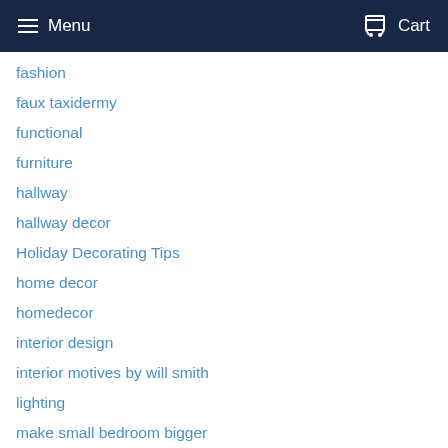Menu  Cart
fashion
faux taxidermy
functional
furniture
hallway
hallway decor
Holiday Decorating Tips
home decor
homedecor
interior design
interior motives by will smith
lighting
make small bedroom bigger
modern furniture
modern furniture store
most popular fall home rennovations
new product